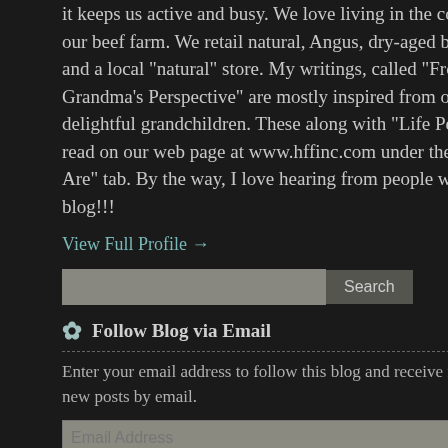it keeps us active and busy. We love living in the country and on our beef farm. We retail natural, Angus, dry-aged beef in our store and a local "natural" store. My writings, called "From A Grandma's Perspective" are mostly inspired from our five delightful grandchildren. These along with "Life Perspective" can read on our web page at www.hffinc.com under the "Who We Are" tab. By the way, I love hearing from people who read my blog!!!
View Full Profile →
Follow Blog via Email
Enter your email address to follow this blog and receive notifications of new posts by email.
Follow
Join 109 other subscribers
[Figure (photo): Partial photo of person in purple/pink clothing on right side]
Back row: Gary Tur... Burkholder, George... row: Pat (Heatwole)... Sherill (King) and D... row: Carla (Janzen)... (Barnhart) Shoema... Linda (Hunsburger)...
Last year was the schedule... Eastern Mennonite High Sc... Covid-19? It had everyone... although a few fearless one... Diana Berkshire.
Yesterday, Saturday, Octob... reunion one year late. Fifte... met at the beautiful home o... reminiscing and one well-k... attending will ever know! It...
We discovered that the cla... when seventy looked old a... They were for the old folks... Kiser who celebrated the b...